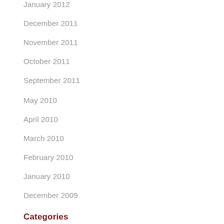January 2012
December 2011
November 2011
October 2011
September 2011
May 2010
April 2010
March 2010
February 2010
January 2010
December 2009
Categories